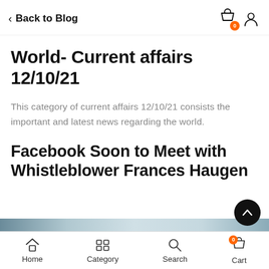Back to Blog
World- Current affairs 12/10/21
This category of current affairs 12/10/21 consists the important and latest news regarding the world.
Facebook Soon to Meet with Whistleblower Frances Haugen
Home  Category  Search  Cart